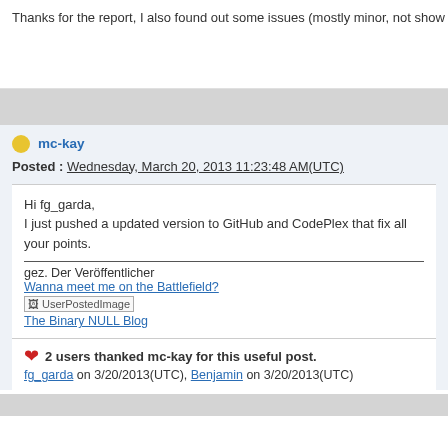Thanks for the report, I also found out some issues (mostly minor, not show stoppers like for you). T
mc-kay
Posted : Wednesday, March 20, 2013 11:23:48 AM(UTC)
Hi fg_garda,
I just pushed a updated version to GitHub and CodePlex that fix all your points.
gez. Der Veröffentlicher
Wanna meet me on the Battlefield?
[UserPostedImage]
The Binary NULL Blog
2 users thanked mc-kay for this useful post.
fg_garda on 3/20/2013(UTC), Benjamin on 3/20/2013(UTC)